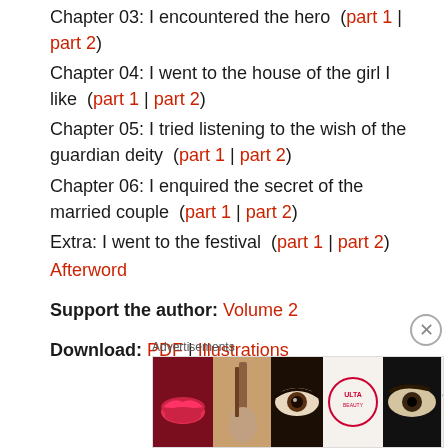Chapter 03: I encountered the hero  (part 1 | part 2)
Chapter 04: I went to the house of the girl I like  (part 1 | part 2)
Chapter 05: I tried listening to the wish of the guardian deity  (part 1 | part 2)
Chapter 06: I enquired the secret of the married couple  (part 1 | part 2)
Extra: I went to the festival  (part 1 | part 2)
Afterword
Support the author: Volume 2
Download: PDF | Illustrations
[Figure (other): Advertisements banner for ULTA beauty products showing makeup close-ups with SHOP NOW call to action]